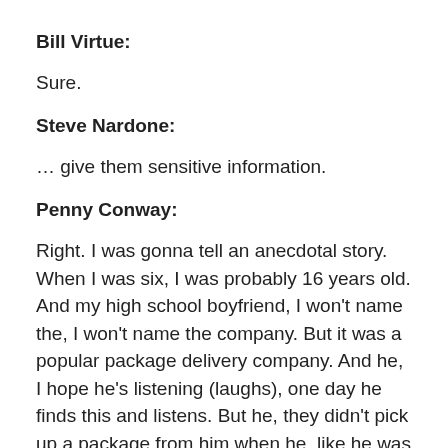Bill Virtue:
Sure.
Steve Nardone:
… give them sensitive information.
Penny Conway:
Right. I was gonna tell an anecdotal story. When I was six, I was probably 16 years old. And my high school boyfriend, I won't name the, I won't name the company. But it was a popular package delivery company. And he, I hope he's listening (laughs), one day he finds this and listens. But he, they didn't pick up a package from him when he, like he was a big E-bayer 'cause that was, that